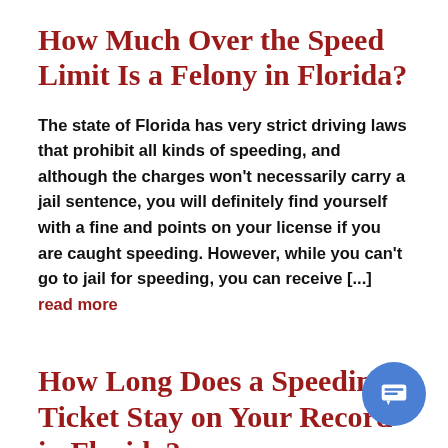How Much Over the Speed Limit Is a Felony in Florida?
The state of Florida has very strict driving laws that prohibit all kinds of speeding, and although the charges won't necessarily carry a jail sentence, you will definitely find yourself with a fine and points on your license if you are caught speeding. However, while you can't go to jail for speeding, you can receive [...] read more
How Long Does a Speeding Ticket Stay on Your Record in Florida?
Every state in America has a similar point system when it comes to driving violations, but Florida's point system is particularly strict compared to the others. If